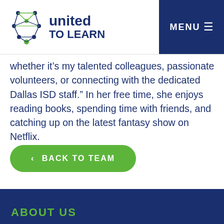[Figure (logo): United To Learn logo with network graph icon and bold blue text]
whether it’s my talented colleagues, passionate volunteers, or connecting with the dedicated Dallas ISD staff.” In her free time, she enjoys reading books, spending time with friends, and catching up on the latest fantasy show on Netflix.
‹ BACK TO TEAM
ABOUT US